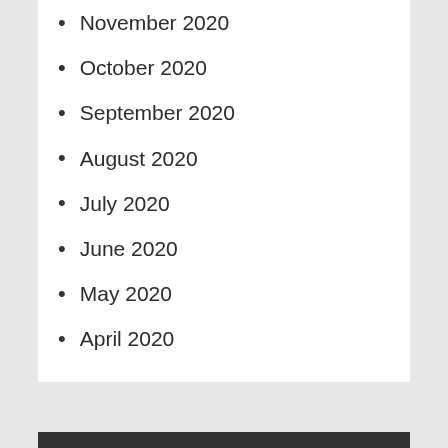November 2020
October 2020
September 2020
August 2020
July 2020
June 2020
May 2020
April 2020
CATEGORIES
bathroom remodel